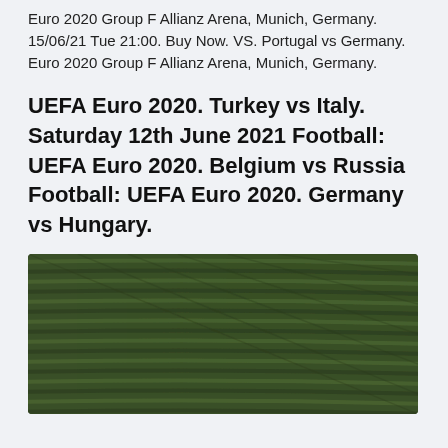Euro 2020 Group F Allianz Arena, Munich, Germany. 15/06/21 Tue 21:00. Buy Now. VS. Portugal vs Germany. Euro 2020 Group F Allianz Arena, Munich, Germany.
UEFA Euro 2020. Turkey vs Italy. Saturday 12th June 2021 Football: UEFA Euro 2020. Belgium vs Russia Football: UEFA Euro 2020. Germany vs Hungary.
[Figure (photo): Aerial view of green agricultural crop rows forming curved parallel lines, dark green tones, viewed from above.]